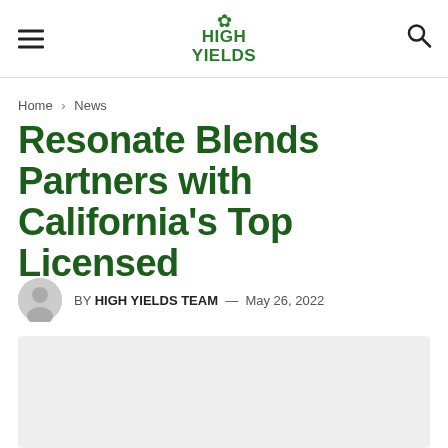HIGH YIELDS — navigation header with hamburger menu and search icon
Home > News
Resonate Blends Partners with California's Top Licensed
BY HIGH YIELDS TEAM — May 26, 2022
[Figure (photo): Featured article image placeholder (light grey rectangle)]